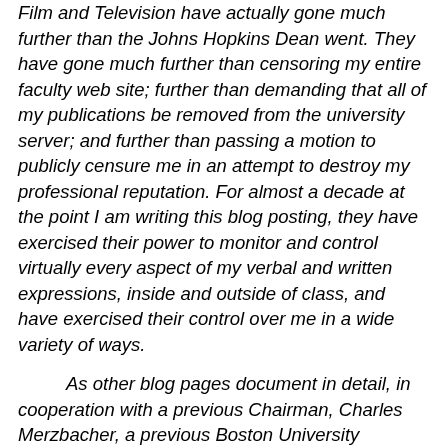Film and Television have actually gone much further than the Johns Hopkins Dean went. They have gone much further than censoring my entire faculty web site; further than demanding that all of my publications be removed from the university server; and further than passing a motion to publicly censure me in an attempt to destroy my professional reputation. For almost a decade at the point I am writing this blog posting, they have exercised their power to monitor and control virtually every aspect of my verbal and written expressions, inside and outside of class, and have exercised their control over me in a wide variety of ways.
As other blog pages document in detail, in cooperation with a previous Chairman, Charles Merzbacher, a previous Boston University Provost, David Campbell, gave me a list of items I was forbidden to publish my opinions about; a previous Dean of the College of Communication, John Schulz,